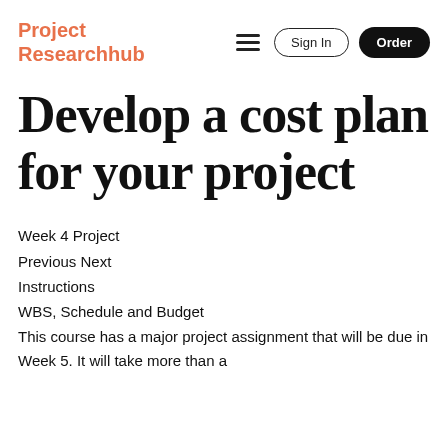Project Researchhub
Develop a cost plan for your project
Week 4 Project
Previous Next
Instructions
WBS, Schedule and Budget
This course has a major project assignment that will be due in Week 5. It will take more than a
[Figure (screenshot): Navigation bar with hamburger menu, Sign In button, and Order button]